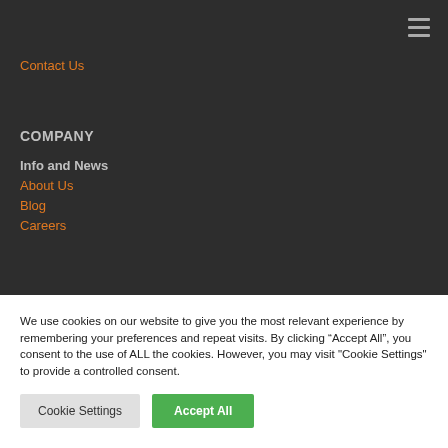Contact Us
COMPANY
Info and News
About Us
Blog
Careers
We use cookies on our website to give you the most relevant experience by remembering your preferences and repeat visits. By clicking “Accept All”, you consent to the use of ALL the cookies. However, you may visit "Cookie Settings" to provide a controlled consent.
Cookie Settings | Accept All